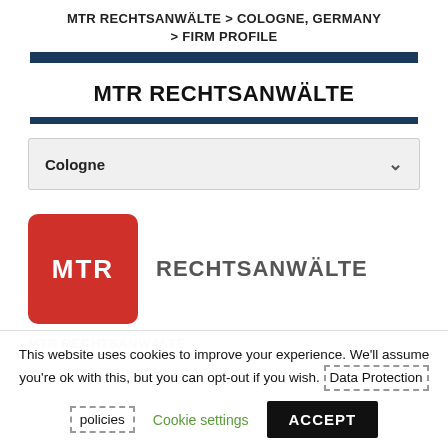MTR RECHTSANWÄLTE > COLOGNE, GERMANY > FIRM PROFILE
MTR RECHTSANWÄLTE
[Figure (other): Dropdown selector showing 'Cologne' with a chevron arrow]
[Figure (logo): MTR Rechtsanwälte logo: red rounded square with white MTR text, followed by RECHTSANWÄLTE in gray]
MTR RECHTSANWÄLTE
This website uses cookies to improve your experience. We'll assume you're ok with this, but you can opt-out if you wish. Data Protection policies Cookie settings ACCEPT